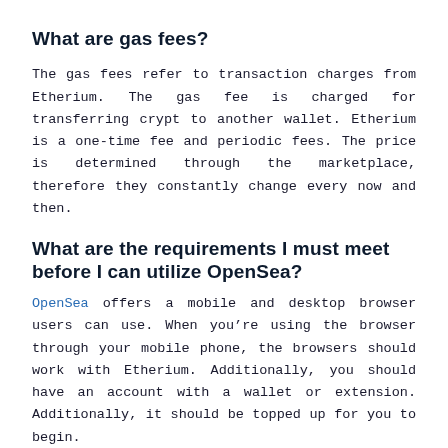What are gas fees?
The gas fees refer to transaction charges from Etherium. The gas fee is charged for transferring crypt to another wallet. Etherium is a one-time fee and periodic fees. The price is determined through the marketplace, therefore they constantly change every now and then.
What are the requirements I must meet before I can utilize OpenSea?
OpenSea offers a mobile and desktop browser users can use. When you’re using the browser through your mobile phone, the browsers should work with Etherium. Additionally, you should have an account with a wallet or extension. Additionally, it should be topped up for you to begin.